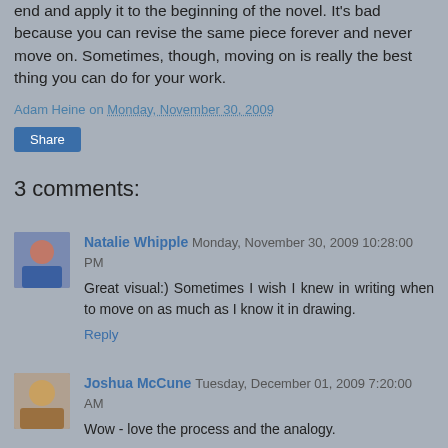end and apply it to the beginning of the novel. It's bad because you can revise the same piece forever and never move on. Sometimes, though, moving on is really the best thing you can do for your work.
Adam Heine on Monday, November 30, 2009
Share
3 comments:
Natalie Whipple Monday, November 30, 2009 10:28:00 PM
Great visual:) Sometimes I wish I knew in writing when to move on as much as I know it in drawing.
Reply
Joshua McCune Tuesday, December 01, 2009 7:20:00 AM
Wow - love the process and the analogy.